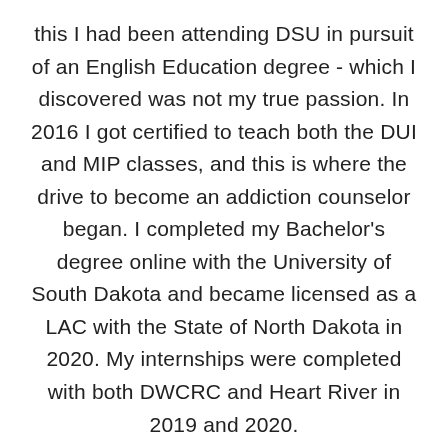this I had been attending DSU in pursuit of an English Education degree - which I discovered was not my true passion. In 2016 I got certified to teach both the DUI and MIP classes, and this is where the drive to become an addiction counselor began. I completed my Bachelor's degree online with the University of South Dakota and became licensed as a LAC with the State of North Dakota in 2020. My internships were completed with both DWCRC and Heart River in 2019 and 2020.